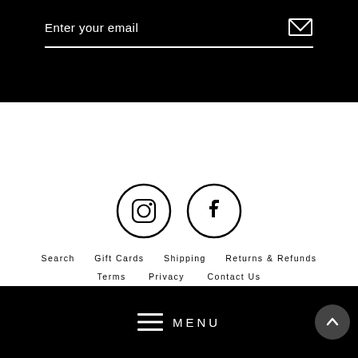Enter your email
[Figure (illustration): Instagram and Facebook social media icons as outlined circles]
Search
Gift Cards
Shipping
Returns & Refunds
Terms
Privacy
Contact Us
Become An Ambassador
Affiliate Dashboard
MENU